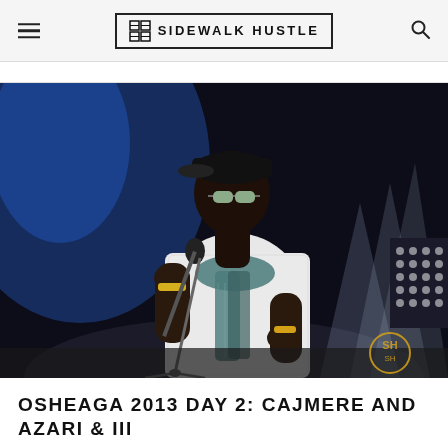SIDEWALK HUSTLE
[Figure (photo): A performer on stage holding a microphone stand, wearing a white mesh t-shirt, teal scarf, black backwards cap, and sunglasses. The background shows blue and white stage lighting. Sidewalk Hustle logo watermark visible in bottom right.]
OSHEAGA 2013 DAY 2: CAJMERE AND AZARI & III